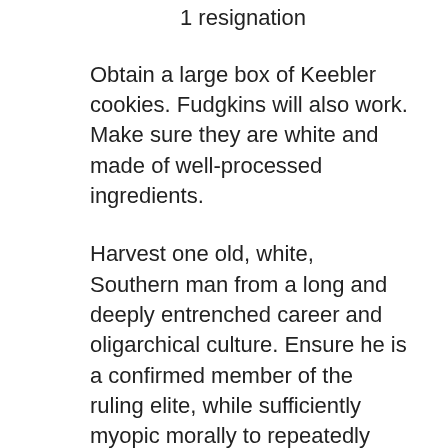1 resignation
Obtain a large box of Keebler cookies. Fudgkins will also work. Make sure they are white and made of well-processed ingredients.
Harvest one old, white, Southern man from a long and deeply entrenched career and oligarchical culture. Ensure he is a confirmed member of the ruling elite, while sufficiently myopic morally to repeatedly claim personal subjection to injustice and racism.